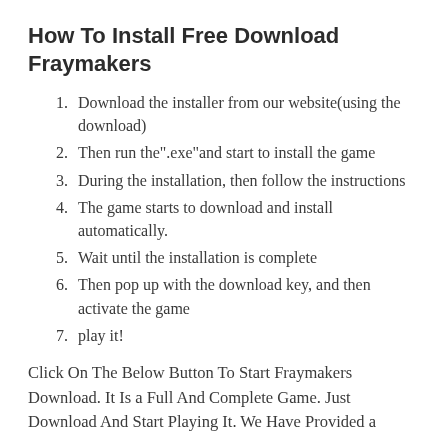How To Install Free Download Fraymakers
Download the installer from our website(using the download)
Then run the".exe"and start to install the game
During the installation, then follow the instructions
The game starts to download and install automatically.
Wait until the installation is complete
Then pop up with the download key, and then activate the game
play it!
Click On The Below Button To Start Fraymakers Download. It Is a Full And Complete Game. Just Download And Start Playing It. We Have Provided a